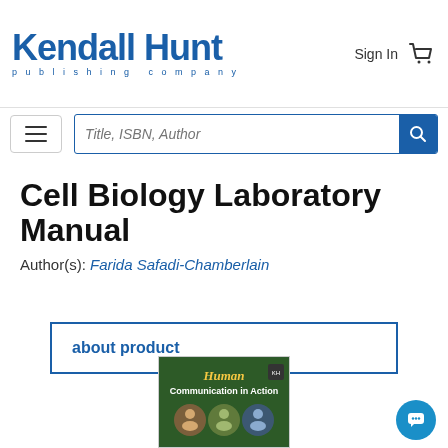Kendall Hunt publishing company | Sign In | Cart
Title, ISBN, Author (search bar)
Cell Biology Laboratory Manual
Author(s): Farida Safadi-Chamberlain
about product
[Figure (photo): Book cover showing 'Human Communication in Action' with circular photo collages on a dark green background]